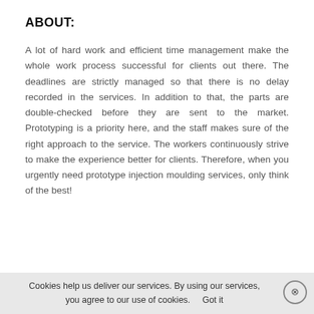ABOUT:
A lot of hard work and efficient time management make the whole work process successful for clients out there. The deadlines are strictly managed so that there is no delay recorded in the services. In addition to that, the parts are double-checked before they are sent to the market. Prototyping is a priority here, and the staff makes sure of the right approach to the service. The workers continuously strive to make the experience better for clients. Therefore, when you urgently need prototype injection moulding services, only think of the best!
Cookies help us deliver our services. By using our services, you agree to our use of cookies.    Got it